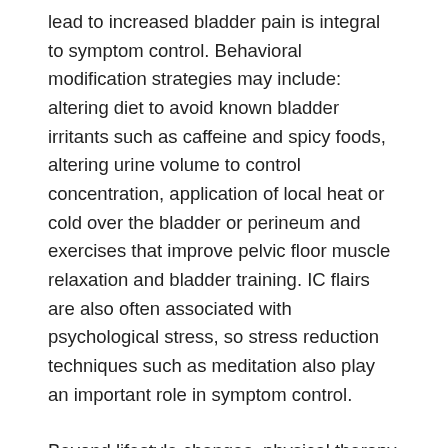lead to increased bladder pain is integral to symptom control. Behavioral modification strategies may include: altering diet to avoid known bladder irritants such as caffeine and spicy foods, altering urine volume to control concentration, application of local heat or cold over the bladder or perineum and exercises that improve pelvic floor muscle relaxation and bladder training. IC flairs are also often associated with psychological stress, so stress reduction techniques such as meditation also play an important role in symptom control.
Beyond lifestyle changes, physical therapy is also playing an increasing role in the treatment of IC. Second line treatment begins with physical therapy, and the AUA recently upgraded appropriate manual physical therapy techniques that resolve abdominopelvic muscular trigger points and improve connective tissue restrictions as a standard of care with grade A evidence (4). These recommendations are based on a randomized clinical trial by Fitzgerald and colleagues that tested ten 60-minute sessions over 12 weeks of myofascial physical therapy (MPT)